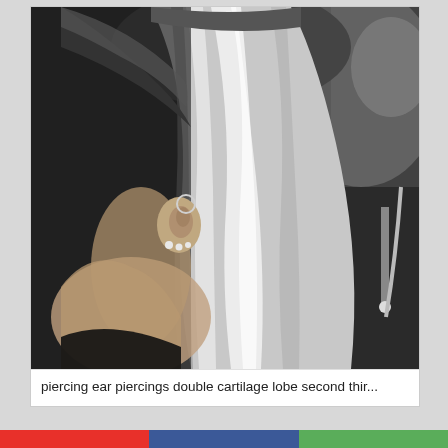[Figure (photo): Black and white close-up photograph of a person with long blonde hair swept to one side, showing their ear with multiple piercings including cartilage hoops and lobe studs. The person is seated in what appears to be a car. The image emphasizes the ear piercings.]
piercing ear piercings double cartilage lobe second thir...